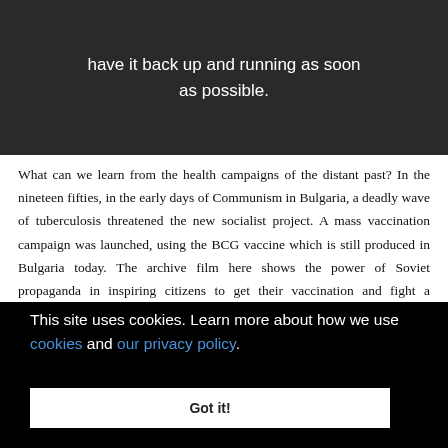[Figure (photo): Dark archival image with white overlaid text reading 'have it back up and running as soon as possible.']
What can we learn from the health campaigns of the distant past? In the nineteen fifties, in the early days of Communism in Bulgaria, a deadly wave of tuberculosis threatened the new socialist project. A mass vaccination campaign was launched, using the BCG vaccine which is still produced in Bulgaria today. The archive film here shows the power of Soviet propaganda in inspiring citizens to get their vaccination and fight a formidable enemy.
Iceland, n of the
This site uses cookies. Learn more about how we use cookies and our privacy policy.
Got it!